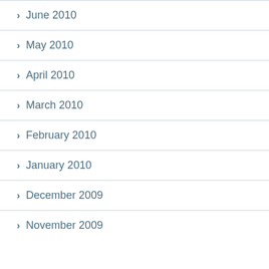June 2010
May 2010
April 2010
March 2010
February 2010
January 2010
December 2009
November 2009